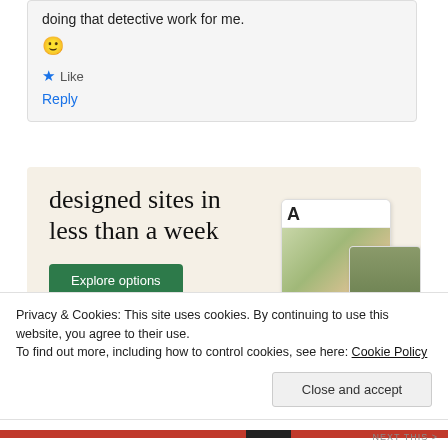doing that detective work for me. 🙂
★ Like
Reply
[Figure (illustration): Advertisement banner with cream background showing 'designed sites in less than a week' text, a green 'Explore options' button, and mockup screenshots of website designs including food photography.]
Advertisements
Privacy & Cookies: This site uses cookies. By continuing to use this website, you agree to their use.
To find out more, including how to control cookies, see here: Cookie Policy
Close and accept